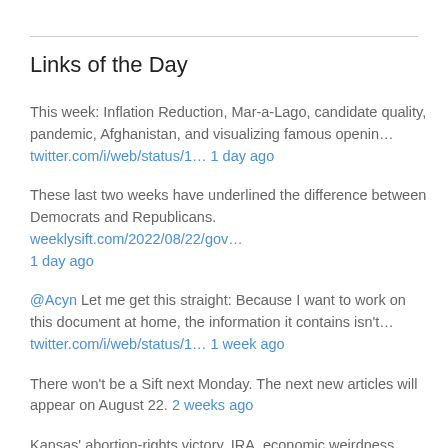Links of the Day
This week: Inflation Reduction, Mar-a-Lago, candidate quality, pandemic, Afghanistan, and visualizing famous openin… twitter.com/i/web/status/1… 1 day ago
These last two weeks have underlined the difference between Democrats and Republicans. weeklysift.com/2022/08/22/gov… 1 day ago
@Acyn Let me get this straight: Because I want to work on this document at home, the information it contains isn't… twitter.com/i/web/status/1… 1 week ago
There won't be a Sift next Monday. The next new articles will appear on August 22. 2 weeks ago
Kansas' abortion-rights victory, IRA, economic weirdness, Alex Jones, and a very well-read grocery list. weeklysift.com/2022/08/08/out… 2 weeks ago